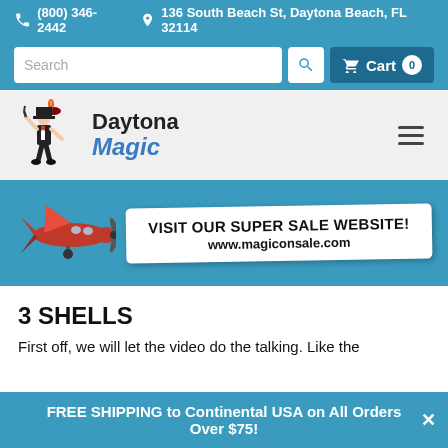(800) 346-2442  136 South Beach St, Daytona Beach, FL 32114
Search
Cart 0
[Figure (logo): Daytona Magic logo with magician illustration and text 'Daytona Magic']
[Figure (infographic): Red airplane flying with banner: VISIT OUR SUPER SALE WEBSITE! www.magiconsale.com]
3 SHELLS
First off, we will let the video do the talking. Like the
FREE SHIPPING to Continental USA on All Orders Over $75!